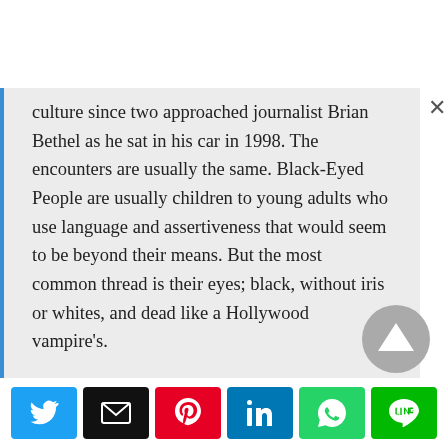culture since two approached journalist Brian Bethel as he sat in his car in 1998. The encounters are usually the same. Black-Eyed People are usually children to young adults who use language and assertiveness that would seem to be beyond their means. But the most common thread is their eyes; black, without iris or whites, and dead like a Hollywood vampire's.
[Figure (other): Social share buttons: Twitter, Email, Pinterest, LinkedIn, WhatsApp, Line]